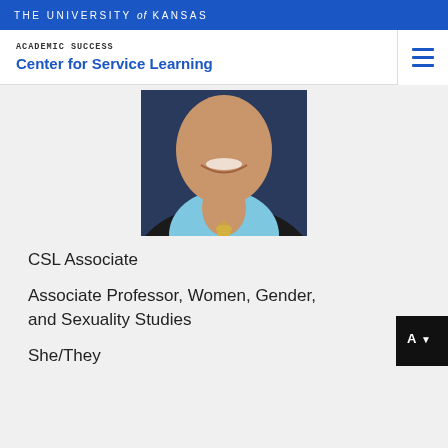THE UNIVERSITY of KANSAS
Academic Success
Center for Service Learning
[Figure (photo): Cropped headshot photo of a person smiling, wearing a light blue shirt and patterned tie with a dark jacket, photographed against a dark blue background.]
CSL Associate
Associate Professor, Women, Gender, and Sexuality Studies
She/They